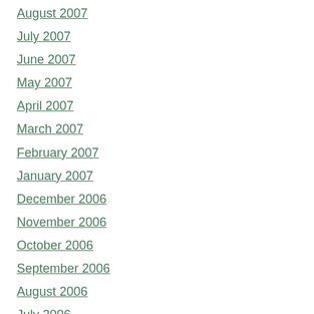August 2007
July 2007
June 2007
May 2007
April 2007
March 2007
February 2007
January 2007
December 2006
November 2006
October 2006
September 2006
August 2006
July 2006
June 2006
May 2006
April 2006
March 2006